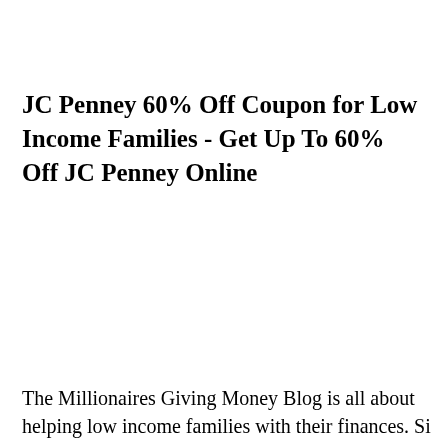JC Penney 60% Off Coupon for Low Income Families - Get Up To 60% Off JC Penney Online
The Millionaires Giving Money Blog is all about helping low income families with their finances. Si...